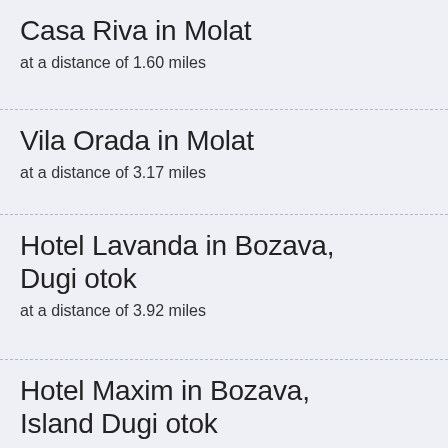Casa Riva in Molat
at a distance of 1.60 miles
Vila Orada in Molat
at a distance of 3.17 miles
Hotel Lavanda in Bozava, Dugi otok
at a distance of 3.92 miles
Hotel Maxim in Bozava, Island Dugi otok
at a distance of 3.93 miles
Hotel Agava in Bozava, Dugi otok